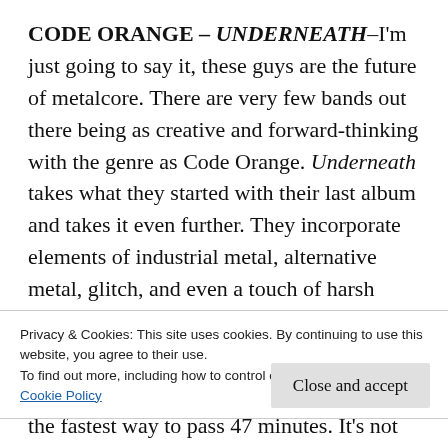CODE ORANGE – UNDERNEATH–I'm just going to say it, these guys are the future of metalcore. There are very few bands out there being as creative and forward-thinking with the genre as Code Orange. Underneath takes what they started with their last album and takes it even further. They incorporate elements of industrial metal, alternative metal, glitch, and even a touch of harsh noise into these tracks. The result is a wild ride from start to finish. The textures and riffs and movements in these
Privacy & Cookies: This site uses cookies. By continuing to use this website, you agree to their use.
To find out more, including how to control cookies, see here:
Cookie Policy
the fastest way to pass 47 minutes. It's not